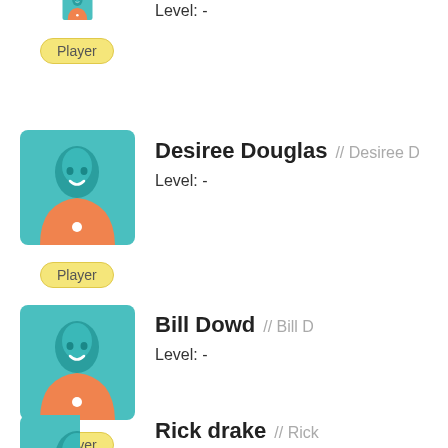[Figure (illustration): Player avatar icon - partially cropped at top]
Level: -
Player
[Figure (illustration): Player avatar icon for Desiree Douglas]
Desiree Douglas // Desiree D
Level: -
Player
[Figure (illustration): Player avatar icon for Bill Dowd]
Bill Dowd // Bill D
Level: -
Player
[Figure (illustration): Player avatar icon for Rick drake]
Rick drake // Rick